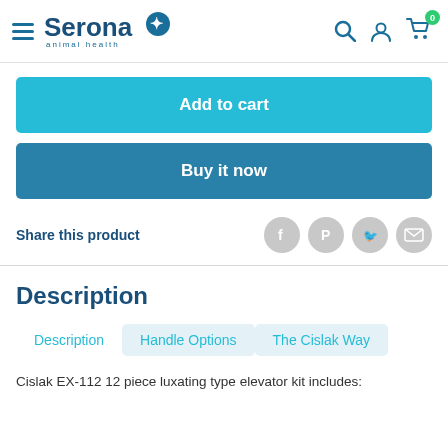Serona animal health — navigation header with search, account, cart icons
Add to cart
Buy it now
Share this product
Description
Description | Handle Options | The Cislak Way
Cislak EX-112 12 piece luxating type elevator kit includes: